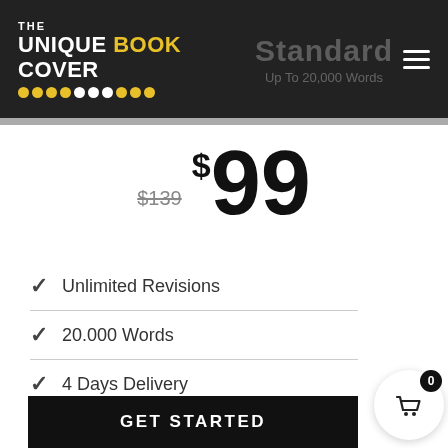[Figure (logo): THE UNIQUE BOOK COVER logo with dots in yellow and white on dark background]
Standard
Up To 20,000 Words
$139  $99
Unlimited Revisions
20.000 Words
4 Days Delivery
GET STARTED